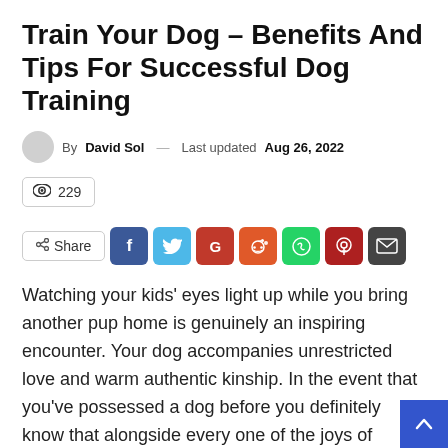Train Your Dog – Benefits And Tips For Successful Dog Training
By David Sol — Last updated Aug 26, 2022
229
Share
Watching your kids' eyes light up while you bring another pup home is genuinely an inspiring encounter. Your dog accompanies unrestricted love and warm authentic kinship. In the event that you've possessed a dog before you definitely know that alongside every one of the joys of another doggy